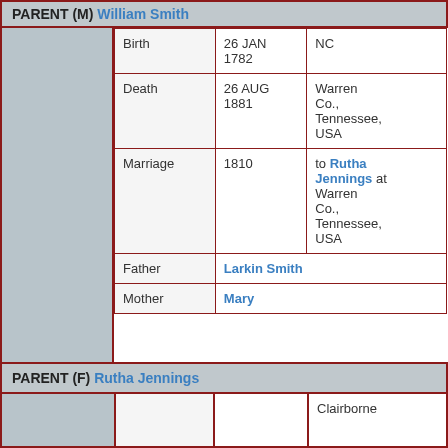| PARENT (M) William Smith |  |  |  |
|  | Birth | 26 JAN 1782 | NC |
|  | Death | 26 AUG 1881 | Warren Co., Tennessee, USA |
|  | Marriage | 1810 | to Rutha Jennings at Warren Co., Tennessee, USA |
|  | Father | Larkin Smith |  |
|  | Mother | Mary |  |
| PARENT (F) Rutha Jennings |  |  |  |
|  |  |  | Clairborne |